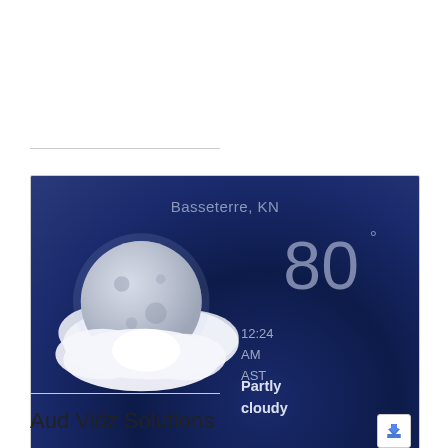[Figure (screenshot): Weather widget screenshot showing night weather for Basseterre, KN. Displays moon and clouds image on left, temperature 80 degrees, time 12:24 AM AST, and condition 'Partly cloudy' on dark blue background. A download button appears in bottom-right corner.]
Aud Vidz Solutions